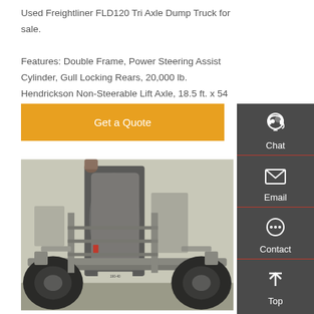Used Freightliner FLD120 Tri Axle Dump Truck for sale. Features: Double Frame, Power Steering Assist Cylinder, Gull Locking Rears, 20,000 lb. Hendrickson Non-Steerable Lift Axle, 18.5 ft. x 54 in. Parker Aluminum
[Figure (other): Orange 'Get a Quote' button]
[Figure (photo): Underside/underbody view of a Freightliner FLD120 tri axle dump truck, showing the axle, frame, suspension components, and tires from below.]
[Figure (other): Right-side vertical sidebar with dark gray background containing Chat (headset icon), Email (envelope icon), Contact (speech bubble icon), and Top (upward arrow icon) buttons with red dividers.]